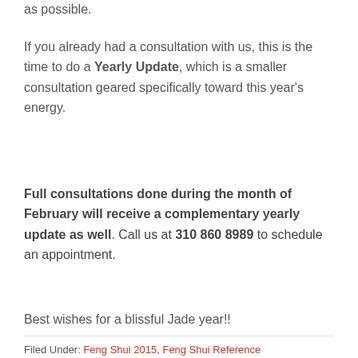as possible.
If you already had a consultation with us, this is the time to do a Yearly Update, which is a smaller consultation geared specifically toward this year's energy.
Full consultations done during the month of February will receive a complementary yearly update as well. Call us at 310 860 8989 to schedule an appointment.
Best wishes for a blissful Jade year!!
Filed Under: Feng Shui 2015, Feng Shui Reference
Tagged With: Chinese New Year, Chinese New Year 2015, feng shui 2015, Feng Shui Business, feng shui house, Feng